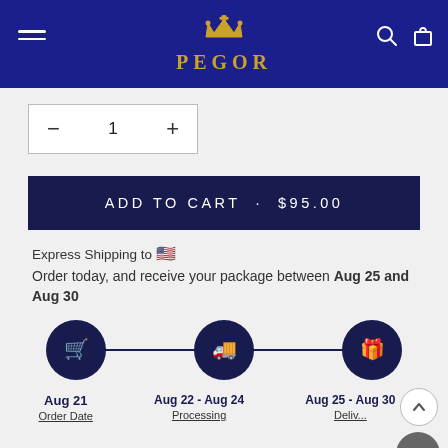[Figure (logo): Pegor brand logo with gold crown and text on dark blue header background]
1
ADD TO CART · $95.00
Express Shipping to 🇺🇸
Order today, and receive your package between Aug 25 and Aug 30
[Figure (infographic): Three-step shipping timeline with dark navy circles showing cart, truck, and gift icons connected by a line]
Aug 21
Order Date
Aug 22 - Aug 24
Processing
Aug 25 - Aug 30
Delivery Date